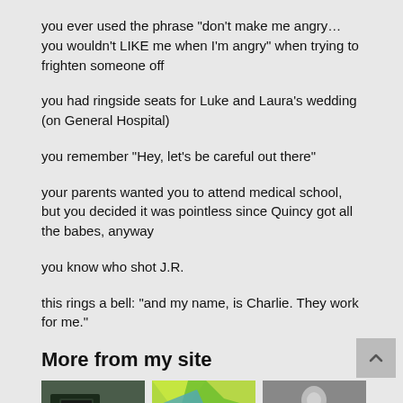you ever used the phrase "don't make me angry…you wouldn't LIKE me when I'm angry" when trying to frighten someone off
you had ringside seats for Luke and Laura's wedding (on General Hospital)
you remember "Hey, let's be careful out there"
your parents wanted you to attend medical school, but you decided it was pointless since Quincy got all the babes, anyway
you know who shot J.R.
this rings a bell: "and my name, is Charlie. They work for me."
More from my site
[Figure (photo): Interior of a vehicle showing seats, dark tones]
[Figure (illustration): Abstract geometric colorful polygons in green, yellow, blue]
[Figure (photo): Black and white photo of a man in a suit gesturing]